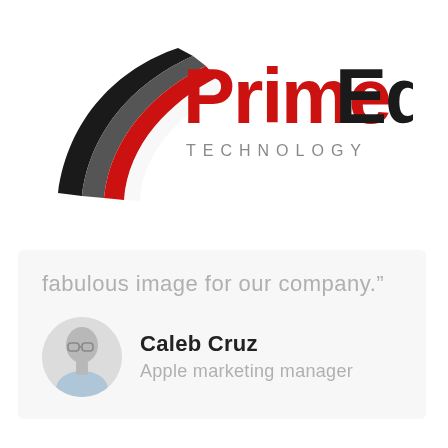[Figure (logo): PrimeEdge Technology logo with red and black swoosh/wing graphic on the left and 'PrimeEdge' text in bold red and black with 'TECHNOLOGY' in spaced gray capitals below]
fabulous image for our company.”
[Figure (photo): Circular avatar photo of Caleb Cruz, a young man with glasses wearing a light blue shirt]
Caleb Cruz
Apple marketing manager